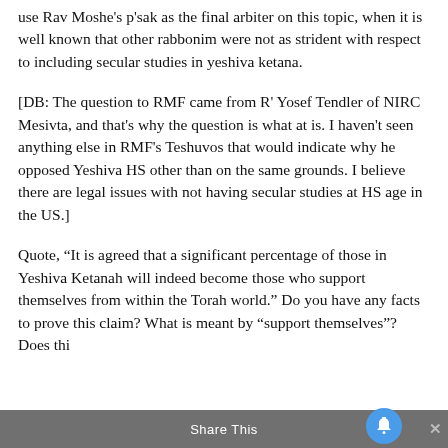use Rav Moshe's p'sak as the final arbiter on this topic, when it is well known that other rabbonim were not as strident with respect to including secular studies in yeshiva ketana.
[DB: The question to RMF came from R' Yosef Tendler of NIRC Mesivta, and that's why the question is what at is. I haven't seen anything else in RMF's Teshuvos that would indicate why he opposed Yeshiva HS other than on the same grounds. I believe there are legal issues with not having secular studies at HS age in the US.]
Quote, “It is agreed that a significant percentage of those in Yeshiva Ketanah will indeed become those who support themselves from within the Torah world.” Do you have any facts to prove this claim? What is meant by “support themselves”? Does this
Share This